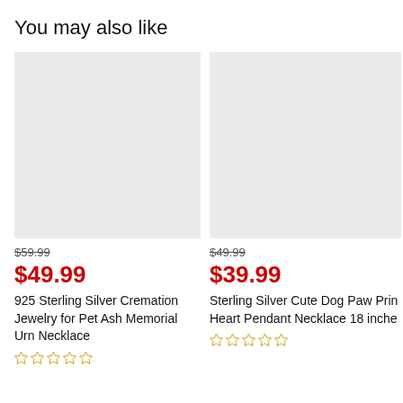You may also like
[Figure (photo): Gray placeholder product image for 925 Sterling Silver Cremation Jewelry for Pet Ash Memorial Urn Necklace]
$59.99
$49.99
925 Sterling Silver Cremation Jewelry for Pet Ash Memorial Urn Necklace
[Figure (other): 5 empty star rating icons]
[Figure (photo): Gray placeholder product image for Sterling Silver Cute Dog Paw Print Heart Pendant Necklace 18 inches]
$49.99
$39.99
Sterling Silver Cute Dog Paw Print Heart Pendant Necklace 18 inches
[Figure (other): 5 empty star rating icons]